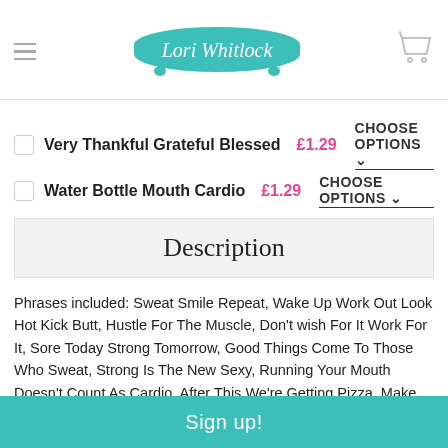Lori Whitlock
Very Thankful Grateful Blessed £1.29 CHOOSE OPTIONS
Water Bottle Mouth Cardio £1.29 CHOOSE OPTIONS
Description
Phrases included: Sweat Smile Repeat, Wake Up Work Out Look Hot Kick Butt, Hustle For The Muscle, Don't wish For It Work For It, Sore Today Strong Tomorrow, Good Things Come To Those Who Sweat, Strong Is The New Sexy, Running Your Mouth Doesn't Count As Cardio, After This We're Getting Pizza, Make Muscles Not Excuses and 4 water bottle labels. SVG File.
Sign up!